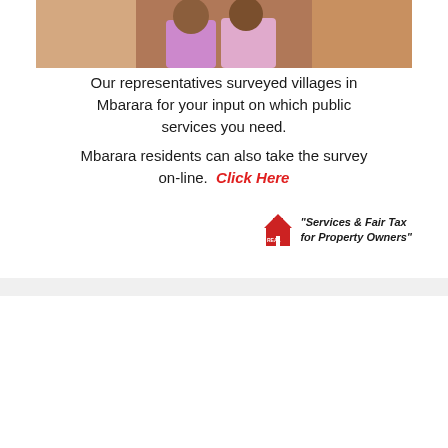[Figure (photo): Photo of people (partially visible at top of first card)]
Our representatives surveyed villages in Mbarara for your input on which public services you need.
Mbarara residents can also take the survey on-line.  Click Here
[Figure (logo): REAL Muloodi logo with tagline: Services & Fair Tax for Property Owners]
[Figure (photo): Photo of a person using a tablet showing Real Muloodi News Network website, with Real Muloodi News Network logo overlay and tagline Property. Pride. Prosperity. A red scroll-to-top button is visible in the bottom right.]